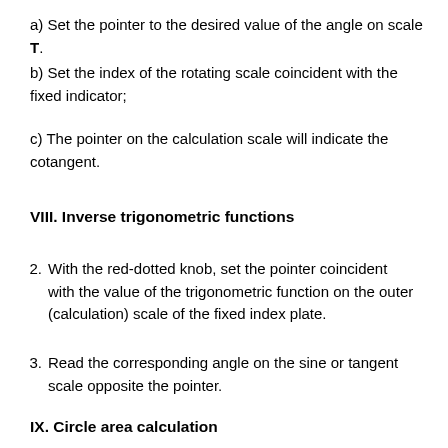a) Set the pointer to the desired value of the angle on scale T.
b) Set the index of the rotating scale coincident with the fixed indicator;
c) The pointer on the calculation scale will indicate the cotangent.
VIII. Inverse trigonometric functions
2. With the red-dotted knob, set the pointer coincident with the value of the trigonometric function on the outer (calculation) scale of the fixed index plate.
3. Read the corresponding angle on the sine or tangent scale opposite the pointer.
IX. Circle area calculation